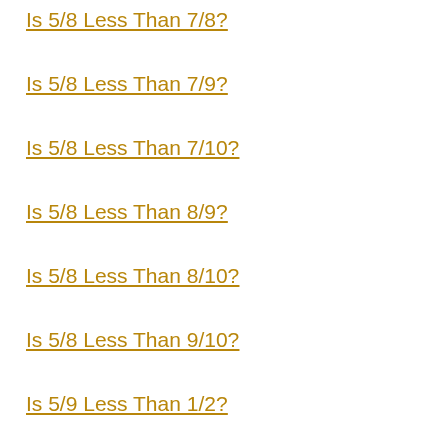Is 5/8 Less Than 7/8?
Is 5/8 Less Than 7/9?
Is 5/8 Less Than 7/10?
Is 5/8 Less Than 8/9?
Is 5/8 Less Than 8/10?
Is 5/8 Less Than 9/10?
Is 5/9 Less Than 1/2?
Is 5/9 Less Than 1/3?
Is 5/9 Less Than 1/4?